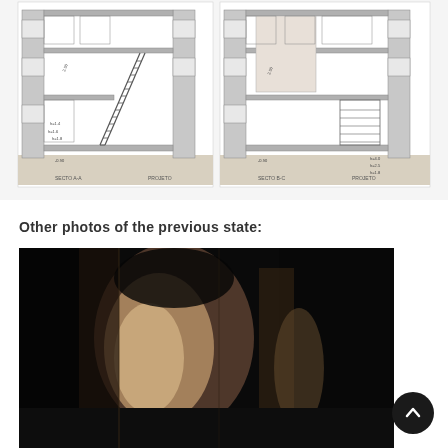[Figure (engineering-diagram): Two architectural cross-section drawings side by side showing building sections A-A and B-C with staircase, room dimensions, and foundation details. Labeled 'SECTO A-A' and 'SECTO B-C' with 'PROJETO' annotations.]
Other photos of the previous state:
[Figure (photo): Dark interior photograph showing stone arched walls and pillars of an old building interior, illuminated to reveal rough stone texture and masonry construction.]